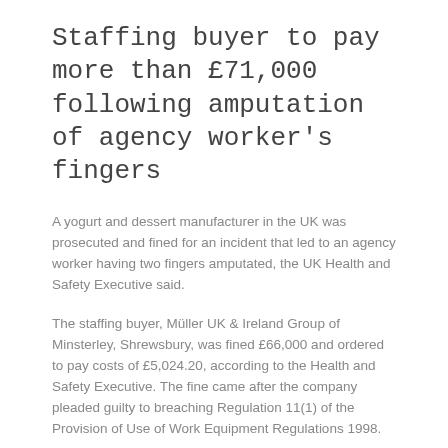Staffing buyer to pay more than £71,000 following amputation of agency worker's fingers
A yogurt and dessert manufacturer in the UK was prosecuted and fined for an incident that led to an agency worker having two fingers amputated, the UK Health and Safety Executive said.
The staffing buyer, Müller UK & Ireland Group of Minsterley, Shrewsbury, was fined £66,000 and ordered to pay costs of £5,024.20, according to the Health and Safety Executive. The fine came after the company pleaded guilty to breaching Regulation 11(1) of the Provision of Use of Work Equipment Regulations 1998.
The incident happened in July 2016 when the agency worker was using a box maker